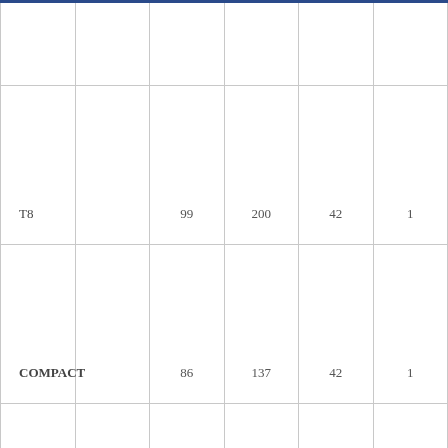|  |  |  |  |  |  |
| --- | --- | --- | --- | --- | --- |
|  |  |  |  |  |  |
| T8 |  | 99 | 200 | 42 | 1 |
| COMPACT |  | 86 | 137 | 42 | 1 |
| ESLA-KICKSPARK |  | 66-88 | 154 | 38 | 1 |